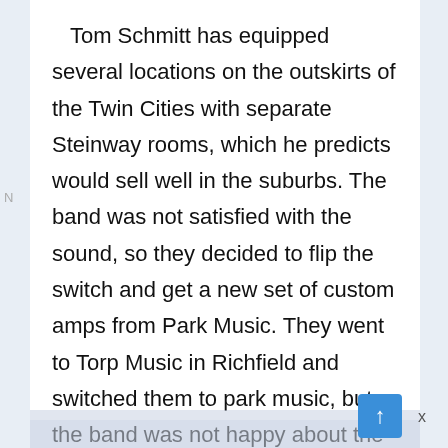Tom Schmitt has equipped several locations on the outskirts of the Twin Cities with separate Steinway rooms, which he predicts would sell well in the suburbs. The band was not satisfied with the sound, so they decided to flip the switch and get a new set of custom amps from Park Music. They went to Torp Music in Richfield and switched them to park music, but the band was not happy about the sounds. Dinos were chosen to do the M.C. "s homework, and as in other American cities in 1970, Minneapolis" citizens